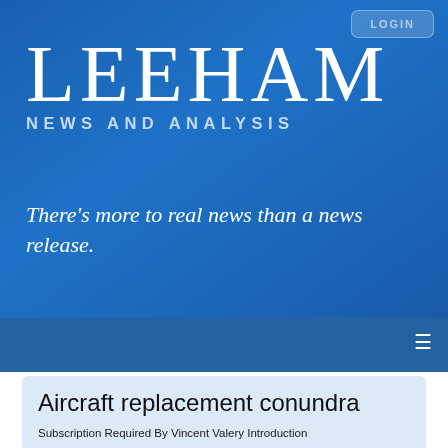[Figure (logo): Leeham News and Analysis logo on blue gradient background with LOGIN button]
There's more to real news than a news release.
LOGIN
Aircraft replacement conundra
Subscription Required By Vincent Valery Introduction Credit: Rolls...